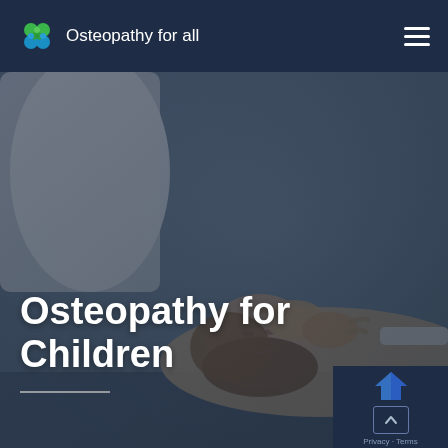Osteopathy for all
[Figure (photo): Osteopath performing cranial or neck treatment on a patient lying on a therapy table, muted blue-gray tones, semi-transparent dark overlay]
Osteopathy for Children